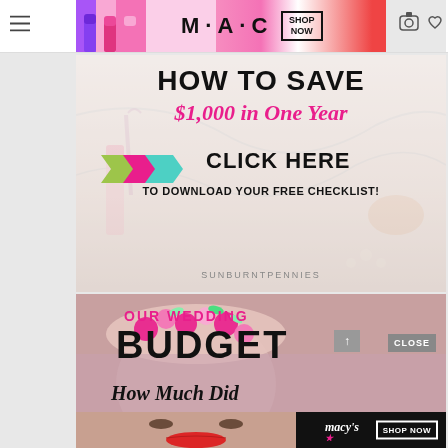[Figure (screenshot): MAC cosmetics advertisement banner with lipsticks, MAC logo, and SHOP NOW button]
[Figure (infographic): HOW TO SAVE $1,000 in One Year promotional banner with CLICK HERE and download checklist call to action, SUNBURNTPENNIES watermark]
[Figure (infographic): OUR WEDDING BUDGET How Much Did We Spend promotional banner with woman holding flowers covering her face]
[Figure (screenshot): Macy's KISS BORING LIPS GOODBYE advertisement banner with SHOP NOW button]